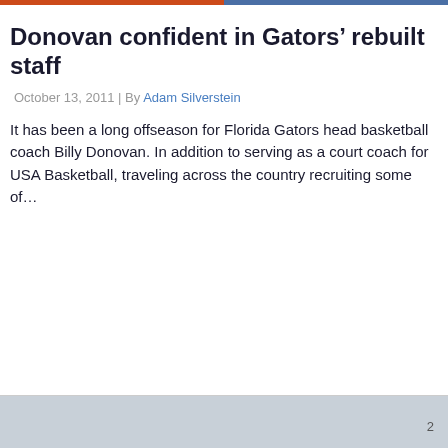Donovan confident in Gators’ rebuilt staff
October 13, 2011 | By Adam Silverstein
It has been a long offseason for Florida Gators head basketball coach Billy Donovan. In addition to serving as a court coach for USA Basketball, traveling across the country recruiting some of…
2